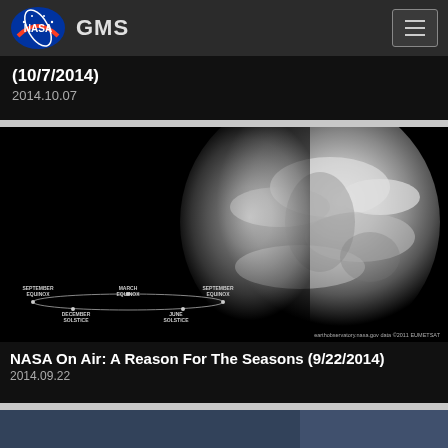GMS
(10/7/2014)
2014.10.07
[Figure (photo): Black and white image of Earth from space showing globe half in shadow, with diagram of equinoxes and solstices in lower left corner and 'earthobservatory.nasa.gov data ©2011 EUMETSAT' watermark]
NASA On Air: A Reason For The Seasons (9/22/2014)
2014.09.22
[Figure (photo): Partial view of another article thumbnail at bottom of page]